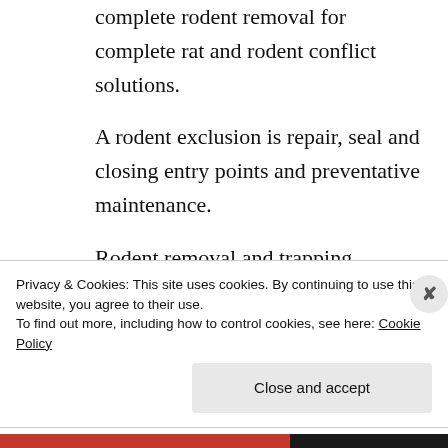complete rodent removal for complete rat and rodent conflict solutions.
A rodent exclusion is repair, seal and closing entry points and preventative maintenance.
Rodent removal and trapping available in Dekalb County GA, Avondale Estates GA, Belvedere Park GA, Candler...
Privacy & Cookies: This site uses cookies. By continuing to use this website, you agree to their use. To find out more, including how to control cookies, see here: Cookie Policy